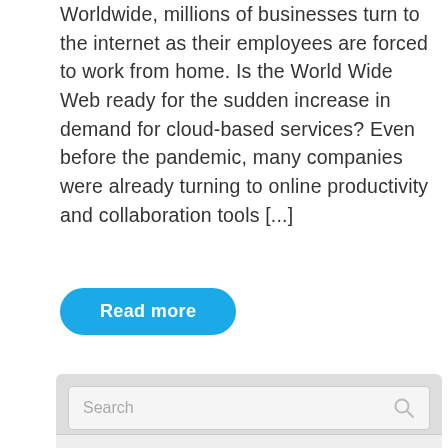Worldwide, millions of businesses turn to the internet as their employees are forced to work from home. Is the World Wide Web ready for the sudden increase in demand for cloud-based services? Even before the pandemic, many companies were already turning to online productivity and collaboration tools [...]
Read more
[Figure (screenshot): Search bar widget with placeholder text 'Search' and a magnifying glass icon]
Recent Posts
Easy tips to increase your computer's longevity
How to protect your business from TDoS attacks
Viva Insights: An essential business productivity tool